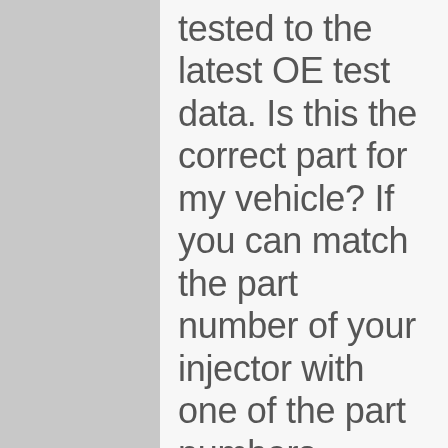tested to the latest OE test data. Is this the correct part for my vehicle? If you can match the part number of your injector with one of the part numbers mentioned